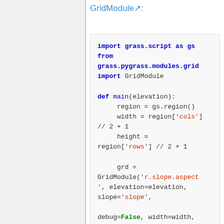GridModule↗:
import grass.script as gs
from grass.pygrass.modules.grid import GridModule

def main(elevation):
    region = gs.region()
    width = region['cols'] // 2 + 1
    height = region['rows'] // 2 + 1

    grd = GridModule('r.slope.aspect', elevation=elevation, slope='slope',

    debug=False, width=width, height=height,

    overlap=10, processes=4, overwrite=True)